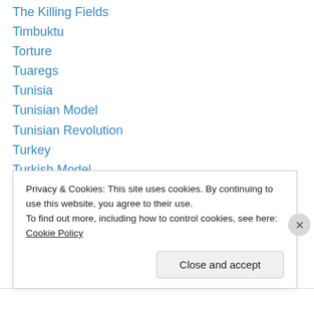The Killing Fields
Timbuktu
Torture
Tuaregs
Tunisia
Tunisian Model
Tunisian Revolution
Turkey
Turkish Model
Two Souls Indivisible
Tyranny
UAE
Uncategorized
Privacy & Cookies: This site uses cookies. By continuing to use this website, you agree to their use.
To find out more, including how to control cookies, see here: Cookie Policy
Close and accept